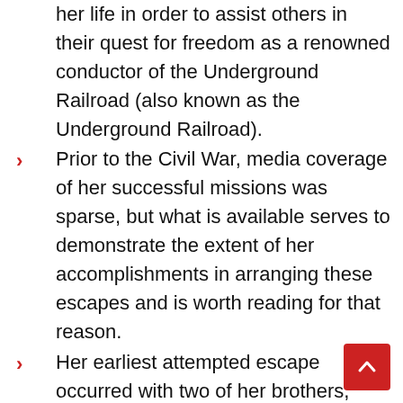her life in order to assist others in their quest for freedom as a renowned conductor of the Underground Railroad (also known as the Underground Railroad).
Prior to the Civil War, media coverage of her successful missions was sparse, but what is available serves to demonstrate the extent of her accomplishments in arranging these escapes and is worth reading for that reason.
Her earliest attempted escape occurred with two of her brothers, Harry and Ben, according to an October 1849 "runaway slave" ad in which she is